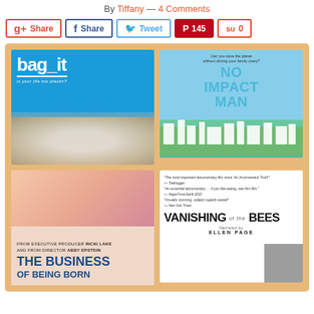By Tiffany — 4 Comments
[Figure (screenshot): Social sharing buttons: Google+ Share, Facebook Share, Twitter Tweet, Pinterest 145, StumbleUpon 0]
[Figure (photo): Grid of four documentary/film posters: Bag It, No Impact Man, The Business of Being Born, Vanishing of the Bees]